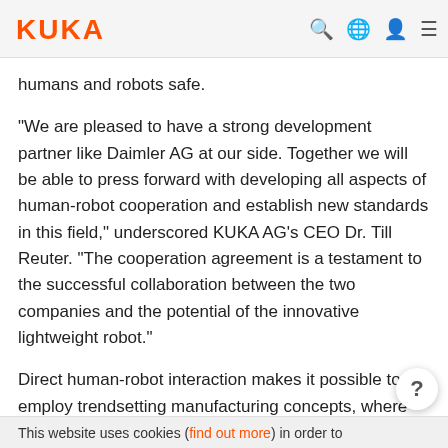KUKA
humans and robots safe.
"We are pleased to have a strong development partner like Daimler AG at our side. Together we will be able to press forward with developing all aspects of human-robot cooperation and establish new standards in this field," underscored KUKA AG's CEO Dr. Till Reuter. "The cooperation agreement is a testament to the successful collaboration between the two companies and the potential of the innovative lightweight robot."
Direct human-robot interaction makes it possible to employ trendsetting manufacturing concepts, where the lightweight robot acts as a worker's "third hand". The lightweight robot was originally developed by
This website uses cookies (find out more) in order to